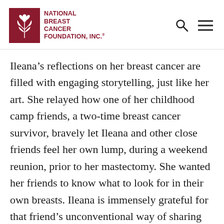National Breast Cancer Foundation, Inc.
Ileana’s reflections on her breast cancer are filled with engaging storytelling, just like her art. She relayed how one of her childhood camp friends, a two-time breast cancer survivor, bravely let Ileana and other close friends feel her own lump, during a weekend reunion, prior to her mastectomy. She wanted her friends to know what to look for in their own breasts. Ileana is immensely grateful for that friend’s unconventional way of sharing her condition because that exposure gave her the confidence to push for more screenings